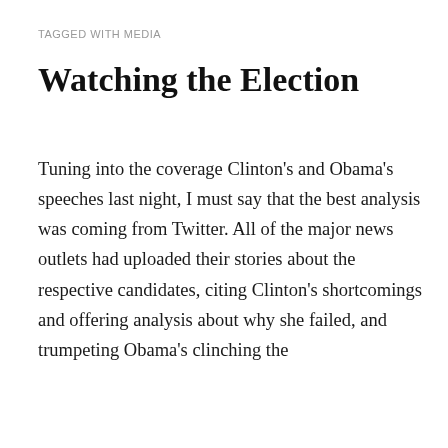TAGGED WITH MEDIA
Watching the Election
Tuning into the coverage Clinton's and Obama's speeches last night, I must say that the best analysis was coming from Twitter. All of the major news outlets had uploaded their stories about the respective candidates, citing Clinton's shortcomings and offering analysis about why she failed, and trumpeting Obama's clinching the
Privacy & Cookies: This site uses cookies. By continuing to use this website, you agree to their use.
To find out more, including how to control cookies, see here: Cookie Policy
Close and accept
and I was totally expecting Clinton to concede, I haven't